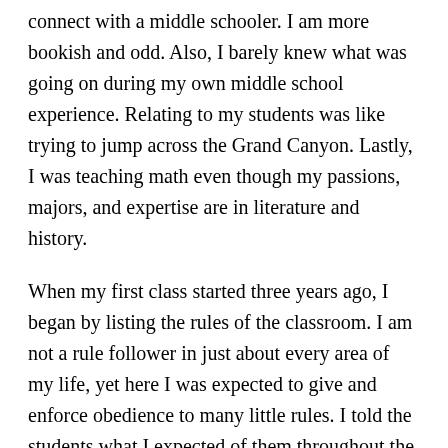connect with a middle schooler. I am more bookish and odd. Also, I barely knew what was going on during my own middle school experience. Relating to my students was like trying to jump across the Grand Canyon. Lastly, I was teaching math even though my passions, majors, and expertise are in literature and history.
When my first class started three years ago, I began by listing the rules of the classroom. I am not a rule follower in just about every area of my life, yet here I was expected to give and enforce obedience to many little rules. I told the students what I expected of them throughout the year: